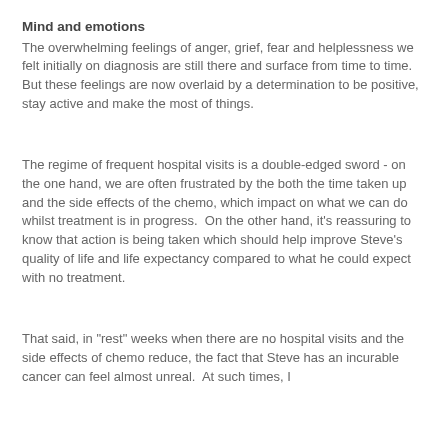Mind and emotions
The overwhelming feelings of anger, grief, fear and helplessness we felt initially on diagnosis are still there and surface from time to time.  But these feelings are now overlaid by a determination to be positive, stay active and make the most of things.
The regime of frequent hospital visits is a double-edged sword - on the one hand, we are often frustrated by the both the time taken up and the side effects of the chemo, which impact on what we can do whilst treatment is in progress.  On the other hand, it's reassuring to know that action is being taken which should help improve Steve's quality of life and life expectancy compared to what he could expect with no treatment.
That said, in "rest" weeks when there are no hospital visits and the side effects of chemo reduce, the fact that Steve has an incurable cancer can feel almost unreal.  At such times, I